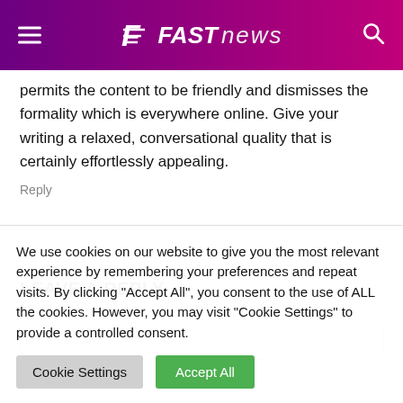FAST news
permits the content to be friendly and dismisses the formality which is everywhere online. Give your writing a relaxed, conversational quality that is certainly effortlessly appealing.
Reply
LEAVE A REPLY
Comment:
We use cookies on our website to give you the most relevant experience by remembering your preferences and repeat visits. By clicking "Accept All", you consent to the use of ALL the cookies. However, you may visit "Cookie Settings" to provide a controlled consent.